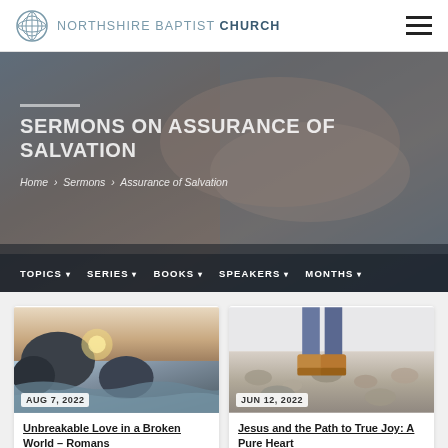NORTHSHIRE BAPTIST CHURCH
SERMONS ON ASSURANCE OF SALVATION
Home > Sermons > Assurance of Salvation
TOPICS  SERIES  BOOKS  SPEAKERS  MONTHS
[Figure (photo): Photograph of person's hands clasped together, wearing a denim shirt — hero banner background]
[Figure (photo): Ocean waves crashing against coastal rocks at sunset — sermon card image dated AUG 7, 2022]
AUG 7, 2022
Unbreakable Love in a Broken World – Romans
[Figure (photo): Person in jeans and tan boots walking on a rocky shore — sermon card image dated JUN 12, 2022]
JUN 12, 2022
Jesus and the Path to True Joy: A Pure Heart